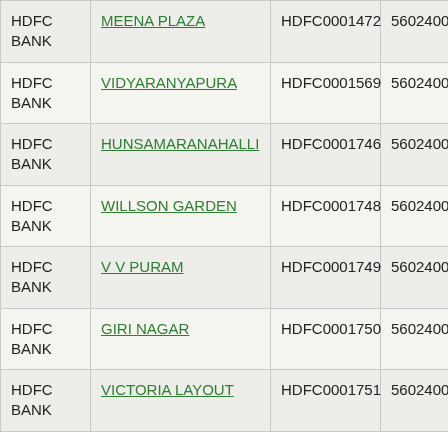| Bank | Branch | IFSC | MICR |
| --- | --- | --- | --- |
| HDFC BANK | MEENA PLAZA | HDFC0001472 | 560240047… |
| HDFC BANK | VIDYARANYAPURA | HDFC0001569 | 560240049… |
| HDFC BANK | HUNSAMARANAHALLI | HDFC0001746 | 560240056… |
| HDFC BANK | WILLSON GARDEN | HDFC0001748 | 560240063… |
| HDFC BANK | V V PURAM | HDFC0001749 | 560240066… |
| HDFC BANK | GIRI NAGAR | HDFC0001750 | 560240057… |
| HDFC BANK | VICTORIA LAYOUT | HDFC0001751 | 560240068… |